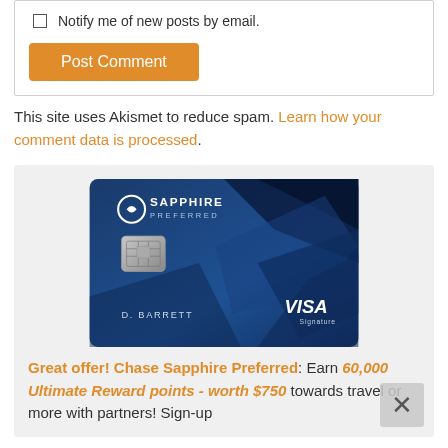Notify me of new posts by email.
Post Comment
This site uses Akismet to reduce spam. Learn how your comment data is processed.
[Figure (photo): Chase Sapphire Preferred Visa Signature credit card with blue geometric design, showing D. BARRETT cardholder name]
Great offer! Chase Sapphire Preferred: Earn 60,000 Ultimate Reward points - worth $750 towards travel or more with partners! Sign-up